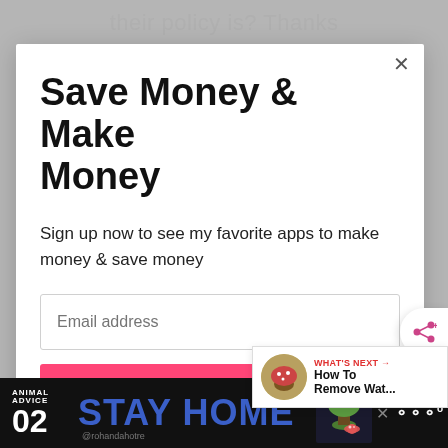their policy is? Thanks
Save Money & Make Money
Sign up now to see my favorite apps to make money & save money
Email address
Get It Now
WHAT'S NEXT → How To Remove Wat...
[Figure (screenshot): Bottom banner advertisement: ANIMAL ADVICE 02 STAY HOME @rohandahotre with mushroom/tree illustration]
ANIMAL ADVICE 02 STAY HOME @rohandahotre